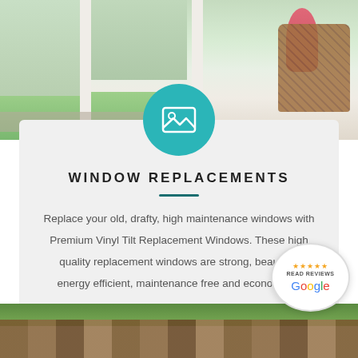[Figure (photo): Interior photo of white windows with view of green lawn outside, wicker chair and red flowers visible]
[Figure (illustration): Teal circular icon with image/photo placeholder icon inside]
WINDOW REPLACEMENTS
Replace your old, drafty, high maintenance windows with Premium Vinyl Tilt Replacement Windows. These high quality replacement windows are strong, beautiful, energy efficient, maintenance free and economical.
[Figure (logo): Google review badge with 5 stars and READ REVIEWS text]
[Figure (photo): Roof with dark shingles and green grass visible at bottom of page]